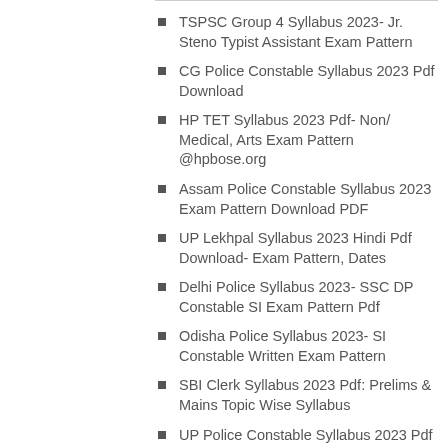TSPSC Group 4 Syllabus 2023- Jr. Steno Typist Assistant Exam Pattern
CG Police Constable Syllabus 2023 Pdf Download
HP TET Syllabus 2023 Pdf- Non/ Medical, Arts Exam Pattern @hpbose.org
Assam Police Constable Syllabus 2023 Exam Pattern Download PDF
UP Lekhpal Syllabus 2023 Hindi Pdf Download- Exam Pattern, Dates
Delhi Police Syllabus 2023- SSC DP Constable SI Exam Pattern Pdf
Odisha Police Syllabus 2023- SI Constable Written Exam Pattern
SBI Clerk Syllabus 2023 Pdf: Prelims & Mains Topic Wise Syllabus
UP Police Constable Syllabus 2023 Pdf in Hindi Download